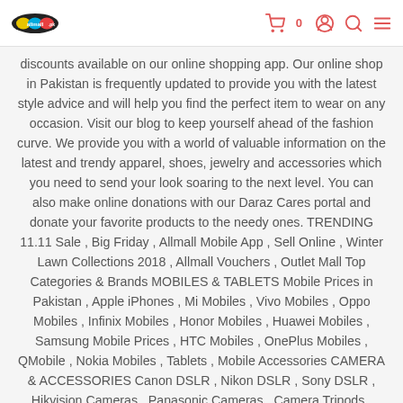allmall.pk | Cart 0
discounts available on our online shopping app. Our online shop in Pakistan is frequently updated to provide you with the latest style advice and will help you find the perfect item to wear on any occasion. Visit our blog to keep yourself ahead of the fashion curve. We provide you with a world of valuable information on the latest and trendy apparel, shoes, jewelry and accessories which you need to send your look soaring to the next level. You can also make online donations with our Daraz Cares portal and donate your favorite products to the needy ones. TRENDING 11.11 Sale , Big Friday , Allmall Mobile App , Sell Online , Winter Lawn Collections 2018 , Allmall Vouchers , Outlet Mall Top Categories & Brands MOBILES & TABLETS Mobile Prices in Pakistan , Apple iPhones , Mi Mobiles , Vivo Mobiles , Oppo Mobiles , Infinix Mobiles , Honor Mobiles , Huawei Mobiles , Samsung Mobile Prices , HTC Mobiles , OnePlus Mobiles , QMobile , Nokia Mobiles , Tablets , Mobile Accessories CAMERA & ACCESSORIES Canon DSLR , Nikon DSLR , Sony DSLR , Hikvision Cameras , Panasonic Cameras , Camera Tripods , Camera Lenses , Camera Bags , Camera Flash , Camera Batteries , Security & Surveillance DSLR Accessories, Camera Accessories, allmall